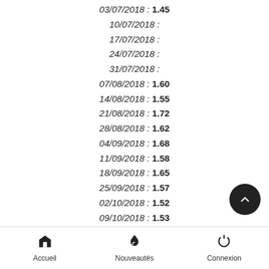03/07/2018 : 1.45
10/07/2018 :
17/07/2018 :
24/07/2018 :
31/07/2018 :
07/08/2018 : 1.60
14/08/2018 : 1.55
21/08/2018 : 1.72
28/08/2018 : 1.62
04/09/2018 : 1.68
11/09/2018 : 1.58
18/09/2018 : 1.65
25/09/2018 : 1.57
02/10/2018 : 1.52
09/10/2018 : 1.53
16/10/2018 : 1.72
23/10/2018 : 1.46
Accueil  Nouveautés  Connexion